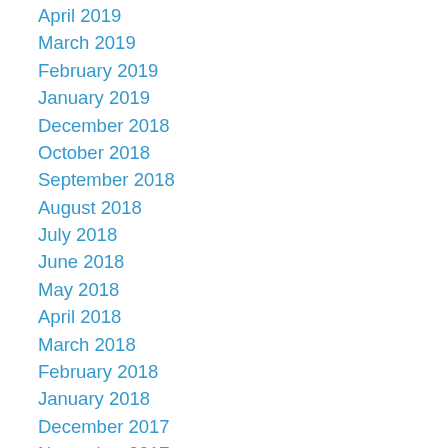April 2019
March 2019
February 2019
January 2019
December 2018
October 2018
September 2018
August 2018
July 2018
June 2018
May 2018
April 2018
March 2018
February 2018
January 2018
December 2017
November 2017
October 2017
September 2017
August 2017